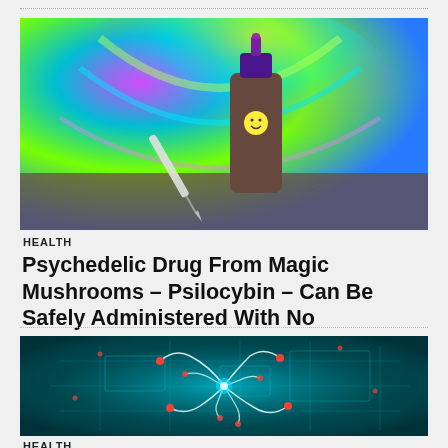[Figure (photo): A brown dropper bottle with a smiley face sticker on it, with a dropper/syringe leaning against it, on a psychedelic colorful swirling background in blue, green, and purple tones.]
HEALTH
Psychedelic Drug From Magic Mushrooms – Psilocybin – Can Be Safely Administered With No Detrimental Effects in Healthy People
[Figure (photo): A glowing blue neural network or brain synapse illustration on a dark teal background, with bright white branches and red nodes suggesting a scientific visualization of brain activity or neuroscience.]
HEALTH